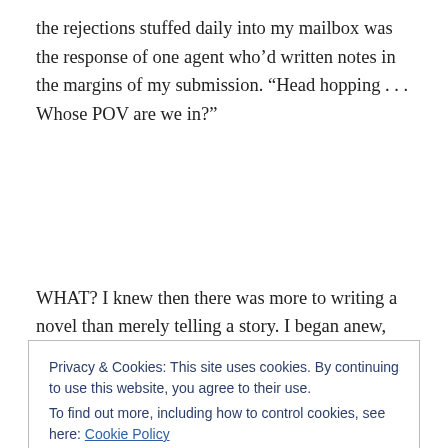the rejections stuffed daily into my mailbox was the response of one agent who'd written notes in the margins of my submission. “Head hopping . . . Whose POV are we in?”
WHAT? I knew then there was more to writing a novel than merely telling a story. I began anew, picked up every how-to book I could get my hands on, and—TA DA!—I started reading. I’m glad I did. Every book, good and terrible, teaches me
Privacy & Cookies: This site uses cookies. By continuing to use this website, you agree to their use.
To find out more, including how to control cookies, see here: Cookie Policy